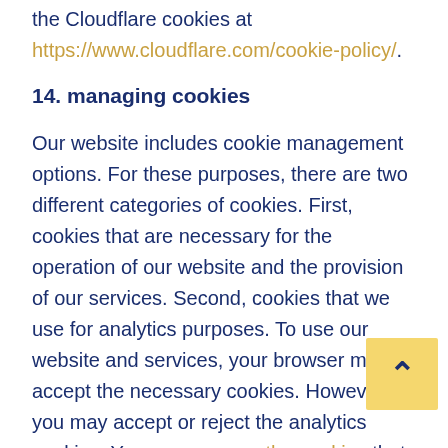the Cloudflare cookies at https://www.cloudflare.com/cookie-policy/.
14. managing cookies
Our website includes cookie management options. For these purposes, there are two different categories of cookies. First, cookies that are necessary for the operation of our website and the provision of our services. Second, cookies that we use for analytics purposes. To use our website and services, your browser must accept the necessary cookies. However, you may accept or reject the analytics cookies. You can manage the cookies that you accept from our website.
Most browsers allow you to refuse to accept cookies and to delete cookies. The methods for doing so vary from browser to browser, and from version to version. You can however obtain up-to-date information about